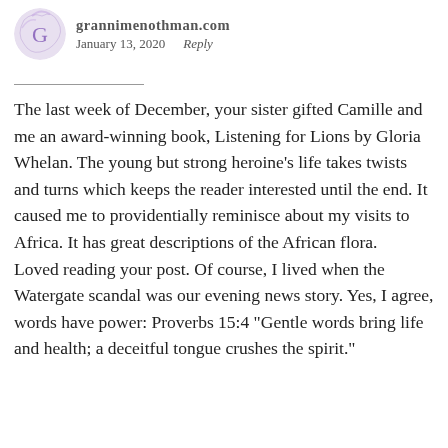grannimenothman.com  January 13, 2020  Reply
The last week of December, your sister gifted Camille and me an award-winning book, Listening for Lions by Gloria Whelan. The young but strong heroine’s life takes twists and turns which keeps the reader interested until the end. It caused me to providentially reminisce about my visits to Africa. It has great descriptions of the African flora.
Loved reading your post. Of course, I lived when the Watergate scandal was our evening news story. Yes, I agree, words have power: Proverbs 15:4 “Gentle words bring life and health; a deceitful tongue crushes the spirit.”